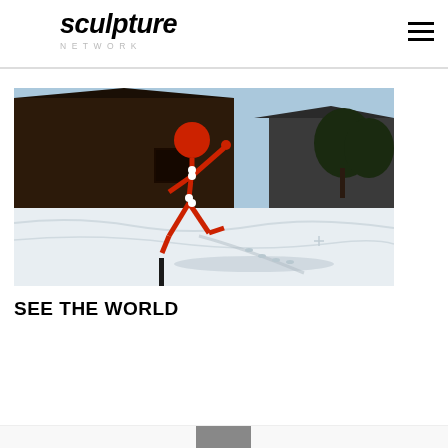sculpture NETWORK
[Figure (photo): Outdoor sculpture of a red stick-figure human form walking in a snowy landscape, with a wooden building and bare trees in the background. The figure has a round red head and jointed red limbs, casting a long shadow on the snow.]
SEE THE WORLD